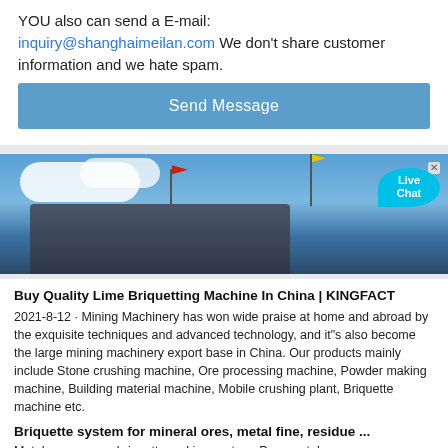YOU also can send a E-mail: inquiry@shanghаimeilan.com We don't share customer information and we hate spam.
Send Message
[Figure (photo): Outdoor photo of mining machinery with flags in foreground against blue sky with clouds. A Live Chat bubble is visible in top right corner.]
Buy Quality Lime Briquetting Machine In China | KINGFACT 2021-8-12 · Mining Machinery has won wide praise at home and abroad by the exquisite techniques and advanced technology, and it"s also become the large mining machinery export base in China. Our products mainly include Stone crushing machine, Ore processing machine, Powder making machine, Building material machine, Mobile crushing plant, Briquette machine etc.
Briquette system for mineral ores, metal fine, residue ... Metal manganese briquette making system. Pure matel